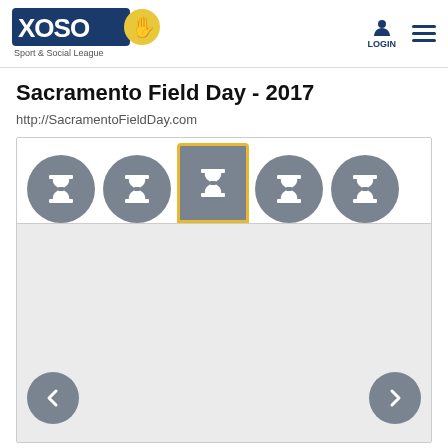[Figure (logo): XOSO Sport & Social League logo with blue and yellow text and a yellow hand icon]
Sacramento Field Day - 2017
http://SacramentoFieldDay.com
[Figure (screenshot): Carousel widget with 5 hourglass icons (tabs), the middle one highlighted with a gold/yellow border, and a grey content area below with left and right navigation arrows]